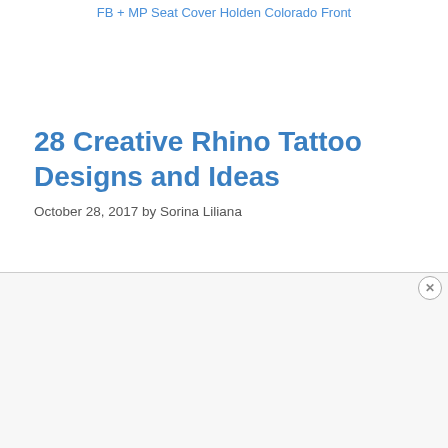FB + MP Seat Cover Holden Colorado Front
28 Creative Rhino Tattoo Designs and Ideas
October 28, 2017 by Sorina Liliana
[Figure (other): Advertisement area at the bottom of the page with a close (X) button]